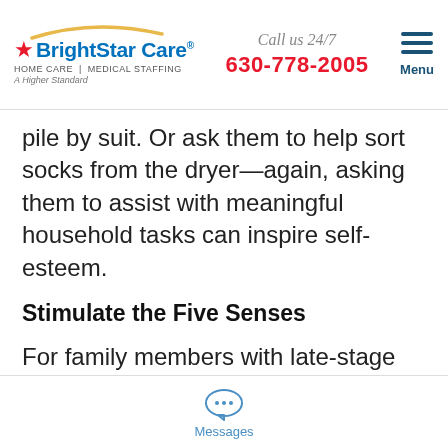BrightStar Care | HOME CARE | MEDICAL STAFFING | A Higher Standard | Call us 24/7 | 630-778-2005 | Menu
pile by suit. Or ask them to help sort socks from the dryer—again, asking them to assist with meaningful household tasks can inspire self-esteem.
Stimulate the Five Senses
For family members with late-stage Alzheimer's, activities will likely need to be pared back. Sit with them while they pet a
Messages